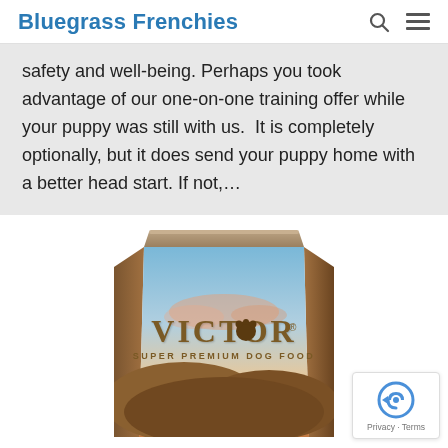Bluegrass Frenchies
safety and well-being. Perhaps you took advantage of our one-on-one training offer while your puppy was still with us.  It is completely optionally, but it does send your puppy home with a better head start. If not,...
[Figure (photo): Victor Super Premium Dog Food bag with a scenic landscape background showing rolling hills at sunset/dusk with blue sky.]